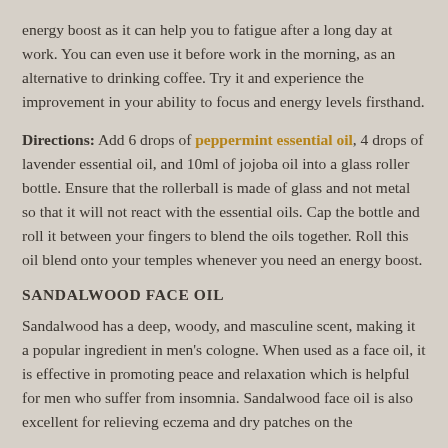energy boost as it can help you to fatigue after a long day at work. You can even use it before work in the morning, as an alternative to drinking coffee. Try it and experience the improvement in your ability to focus and energy levels firsthand.
Directions: Add 6 drops of peppermint essential oil, 4 drops of lavender essential oil, and 10ml of jojoba oil into a glass roller bottle. Ensure that the rollerball is made of glass and not metal so that it will not react with the essential oils. Cap the bottle and roll it between your fingers to blend the oils together. Roll this oil blend onto your temples whenever you need an energy boost.
SANDALWOOD FACE OIL
Sandalwood has a deep, woody, and masculine scent, making it a popular ingredient in men's cologne. When used as a face oil, it is effective in promoting peace and relaxation which is helpful for men who suffer from insomnia. Sandalwood face oil is also excellent for relieving eczema and dry patches on the